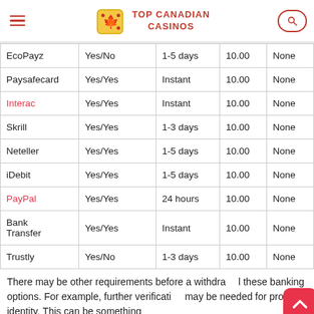TOP CANADIAN CASINOS
|  |  |  |  |  |
| --- | --- | --- | --- | --- |
| EcoPayz | Yes/No | 1-5 days | 10.00 | None |
| Paysafecard | Yes/Yes | Instant | 10.00 | None |
| Interac | Yes/Yes | Instant | 10.00 | None |
| Skrill | Yes/Yes | 1-3 days | 10.00 | None |
| Neteller | Yes/Yes | 1-5 days | 10.00 | None |
| iDebit | Yes/Yes | 1-5 days | 10.00 | None |
| PayPal | Yes/Yes | 24 hours | 10.00 | None |
| Bank Transfer | Yes/Yes | Instant | 10.00 | None |
| Trustly | Yes/No | 1-3 days | 10.00 | None |
There may be other requirements before a withdrawal these banking options. For example, further verification may be needed for proof of identity. This can be something